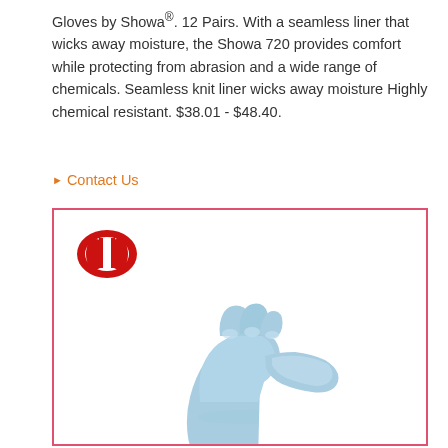Gloves by Showa®. 12 Pairs. With a seamless liner that wicks away moisture, the Showa 720 provides comfort while protecting from abrasion and a wide range of chemicals. Seamless knit liner wicks away moisture Highly chemical resistant. $38.01 - $48.40.
▶ Contact Us
[Figure (photo): A light blue nitrile glove worn on a hand making a shaka/thumbs-up gesture, displayed inside a pink-bordered white box. A red stylized logo (resembling 'db') appears in the upper left of the box.]